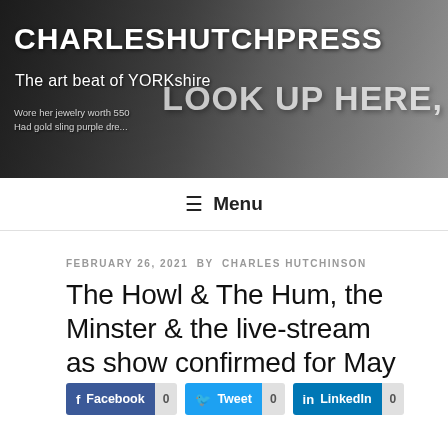[Figure (illustration): Website banner header with newspaper collage background. Shows 'CHARLESHUTCHPRESS' in large white bold text and tagline 'The art beat of YORKshire'. Background shows newspaper pages and headlines including 'LOOK UP HERE,' text. A figure wearing a hat is partially visible.]
≡ Menu
FEBRUARY 26, 2021 BY CHARLES HUTCHINSON
The Howl & The Hum, the Minster & the live-stream as show confirmed for May 25
Facebook 0  Tweet 0  LinkedIn 0